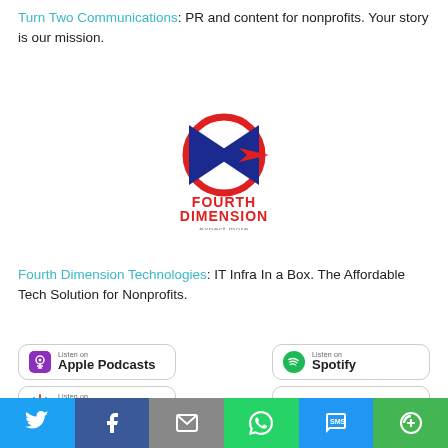Turn Two Communications: PR and content for nonprofits. Your story is our mission.
[Figure (logo): Fourth Dimension Technologies logo — blue arrow/diamond shape with red circle, text FOURTH DIMENSION expect more]
Fourth Dimension Technologies: IT Infra In a Box. The Affordable Tech Solution for Nonprofits.
[Figure (infographic): Podcast listening badges: Apple Podcasts, Spotify, Google Podcasts, Stitcher, Goodpods]
[Figure (infographic): Social sharing bar with Twitter, Facebook, Email, WhatsApp, SMS, and More icons]